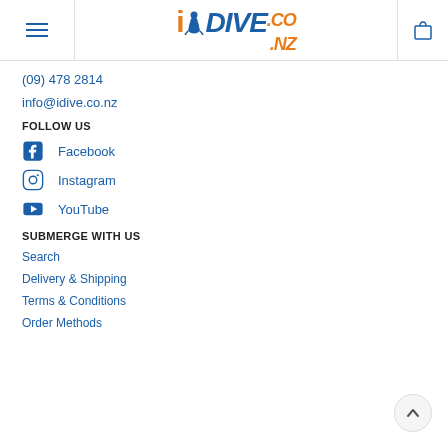[Figure (logo): iDIVE.co.nz logo with hamburger menu and cart icon in header bar]
(09) 478 2814
info@idive.co.nz
FOLLOW US
Facebook
Instagram
YouTube
SUBMERGE WITH US
Search
Delivery & Shipping
Terms & Conditions
Order Methods